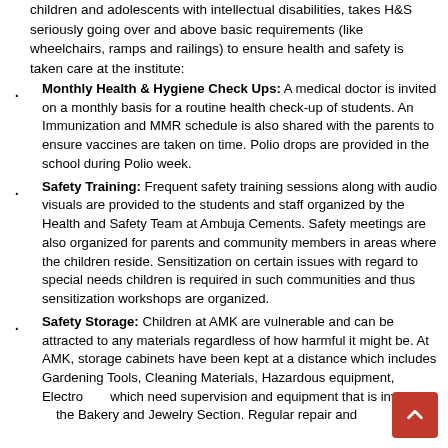children and adolescents with intellectual disabilities, takes H&S seriously going over and above basic requirements (like wheelchairs, ramps and railings) to ensure health and safety is taken care at the institute:
Monthly Health & Hygiene Check Ups: A medical doctor is invited on a monthly basis for a routine health check-up of students. An Immunization and MMR schedule is also shared with the parents to ensure vaccines are taken on time. Polio drops are provided in the school during Polio week.
Safety Training: Frequent safety training sessions along with audio visuals are provided to the students and staff organized by the Health and Safety Team at Ambuja Cements. Safety meetings are also organized for parents and community members in areas where the children reside. Sensitization on certain issues with regard to special needs children is required in such communities and thus sensitization workshops are organized.
Safety Storage: Children at AMK are vulnerable and can be attracted to any materials regardless of how harmful it might be. At AMK, storage cabinets have been kept at a distance which includes Gardening Tools, Cleaning Materials, Hazardous equipment, Electronics which need supervision and equipment that is involved in the Bakery and Jewelry Section. Regular repair and